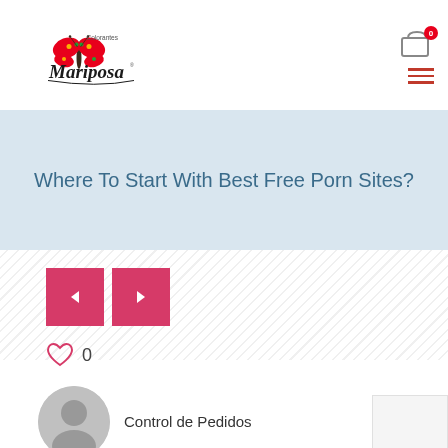[Figure (logo): Colorantes Mariposa butterfly logo with red and green butterfly, cursive Mariposa text]
Where To Start With Best Free Porn Sites?
[Figure (infographic): Navigation left/right arrow buttons (pink/red) on diagonal stripe background, and a heart like button with count 0]
Control de Pedidos
[Figure (illustration): Gray avatar/user silhouette circle icon]